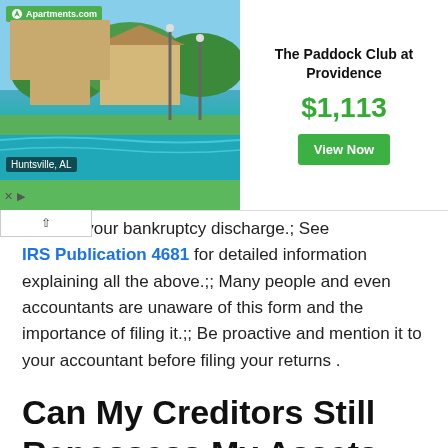[Figure (other): Apartments.com advertisement banner showing The Paddock Club at Providence in Huntsville, AL, priced at $1,113 with a 'View Now' button and a pool/landscape photo.]
received your bankruptcy discharge.; See IRS Publication 4681 for detailed information explaining all the above.;; Many people and even accountants are unaware of this form and the importance of filing it.;; Be proactive and mention it to your accountant before filing your returns .
Can My Creditors Still Repossess My Assets
Secured creditors retain their rights under their contract, even after Bankruptcy or Proposal completion. If you fail to meet the contractual obligations, the creditor can repossess the collateral . In some provinces, the secured creditors can